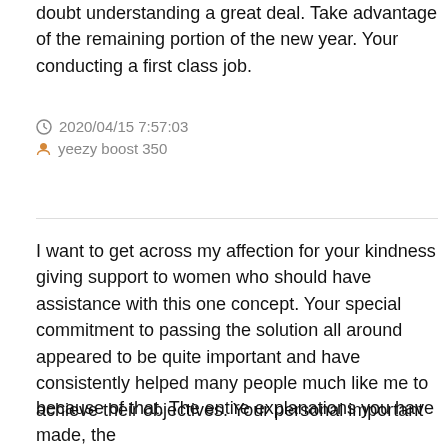doubt understanding a great deal. Take advantage of the remaining portion of the new year. Your conducting a first class job.
2020/04/15 7:57:03
yeezy boost 350
I want to get across my affection for your kindness giving support to women who should have assistance with this one concept. Your special commitment to passing the solution all around appeared to be quite important and have consistently helped many people much like me to achieve their objectives. Your personal important
By using our services, you agree that we and our partners use cookies to improve advertising and enhance your experience on our services. Learn more
OK
because of that. The entire explanations you have made, the